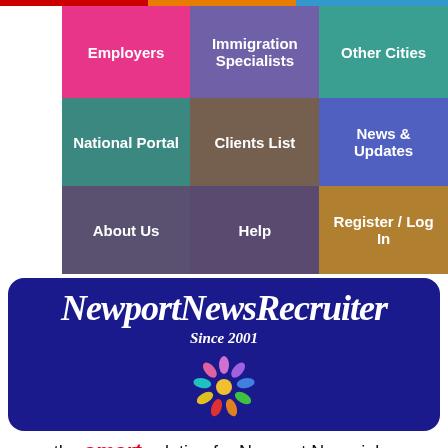[Figure (screenshot): Navigation menu grid with 9 colored tiles: Employers (pink), Immigration Specialists (purple), Other Cities (teal), National Portal (teal), Clients List (brown), News & Updates (blue), About Us (slate), Help (mauve), Register / Log In (gold)]
NewportNewsRecruiter
Since 2001
[Figure (illustration): Colorful starburst/people icon]
the smart solution for Newport News jobs
[Figure (infographic): Social sharing buttons: Facebook, Messenger, Twitter, LinkedIn, Email, More]